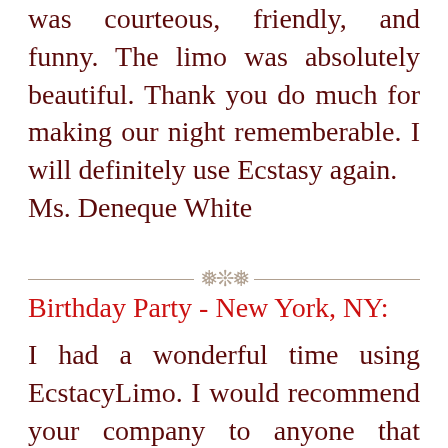was courteous, friendly, and funny. The limo was absolutely beautiful. Thank you do much for making our night rememberable. I will definitely use Ecstasy again.
Ms. Deneque White
Birthday Party - New York, NY:
I had a wonderful time using EcstacyLimo. I would recommend your company to anyone that needs a limo. Your service was prompt and